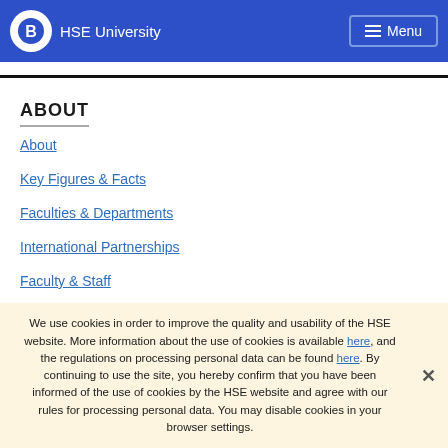HSE University | Menu
ABOUT
About
Key Figures & Facts
Faculties & Departments
International Partnerships
Faculty & Staff
HSE Buildings
We use cookies in order to improve the quality and usability of the HSE website. More information about the use of cookies is available here, and the regulations on processing personal data can be found here. By continuing to use the site, you hereby confirm that you have been informed of the use of cookies by the HSE website and agree with our rules for processing personal data. You may disable cookies in your browser settings.